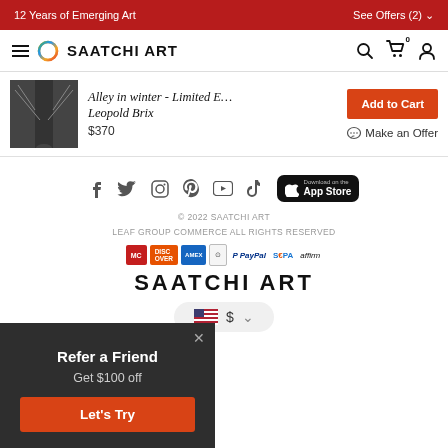12 Years of Emerging Art | See Offers (2)
[Figure (logo): Saatchi Art navigation bar with hamburger menu, circular logo, SAATCHI ART text, search icon, cart icon with 0, and user icon]
[Figure (photo): Black and white photo of a winter alley with trees]
Alley in winter - Limited E… Leopold Brix $370
Add to Cart
Make an Offer
[Figure (infographic): Social media icons: Facebook, Twitter, Instagram, Pinterest, YouTube, TikTok, and Download on the App Store button]
© 2022 SAATCHI ART LEAF GROUP COMMERCE ALL RIGHTS RESERVED
[Figure (infographic): Payment method icons: Mastercard, Discover, American Express, Diners Club, PayPal, SEPA, Affirm]
SAATCHI ART
[Figure (infographic): Currency selector showing US flag and dollar sign]
[Figure (infographic): Popup: Refer a Friend - Get $100 off - Let's Try button]